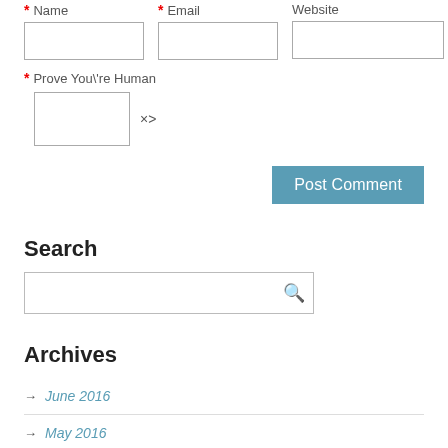* Name   * Email   Website
* Prove You\'re Human
× one = 2
Post Comment
Search
Archives
→ June 2016
→ May 2016